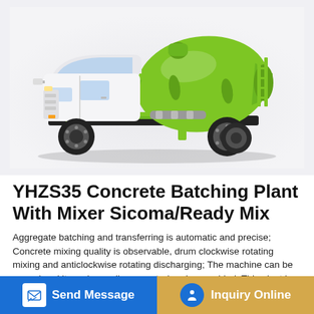[Figure (photo): A concrete mixer truck with a white cab and bright lime-green rotating drum mounted on the back, shown in side profile view.]
YHZS35 Concrete Batching Plant With Mixer Sicoma/Ready Mix
Aggregate batching and transferring is automatic and precise; Concrete mixing quality is observable, drum clockwise rotating mixing and anticlockwise rotating discharging; The machine can be moved and it can be easily separated and assembled; This plant is designed to work
Send Message
Inquiry Online